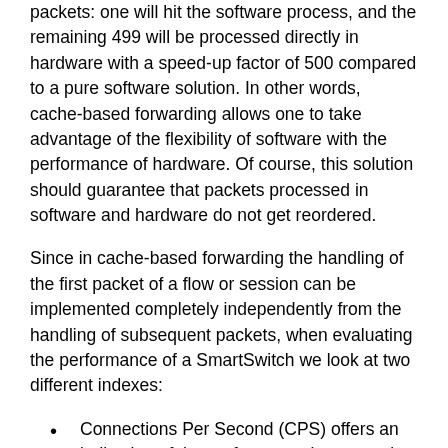packets: one will hit the software process, and the remaining 499 will be processed directly in hardware with a speed-up factor of 500 compared to a pure software solution. In other words, cache-based forwarding allows one to take advantage of the flexibility of software with the performance of hardware. Of course, this solution should guarantee that packets processed in software and hardware do not get reordered.
Since in cache-based forwarding the handling of the first packet of a flow or session can be implemented completely independently from the handling of subsequent packets, when evaluating the performance of a SmartSwitch we look at two different indexes:
Connections Per Second (CPS) offers an indication of the performance in processing the initial packet of each flow.
Packet Per Second (PPS) provides a measure of the